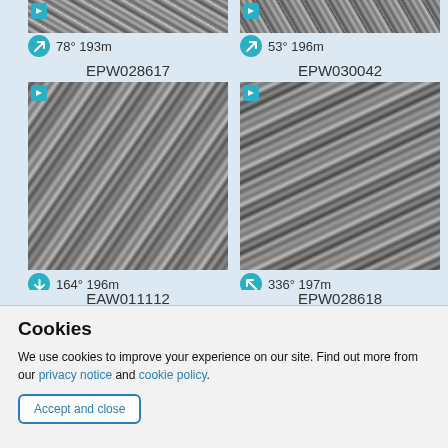[Figure (photo): Partial aerial black-and-white photograph (top-cropped)]
78° 193m
[Figure (photo): Partial aerial black-and-white photograph (top-cropped)]
53° 196m
EPW028617
[Figure (photo): Aerial black-and-white photograph EPW028617, urban area oblique view]
164° 196m
EPW030042
[Figure (photo): Aerial black-and-white photograph EPW030042, urban area oblique view]
336° 197m
EAW011112
[Figure (photo): Partial aerial black-and-white photograph EAW011112 (bottom-cropped)]
EPW028618
[Figure (photo): Partial aerial black-and-white photograph EPW028618 (bottom-cropped)]
Cookies
We use cookies to improve your experience on our site. Find out more from our privacy notice and cookie policy.
Accept and close